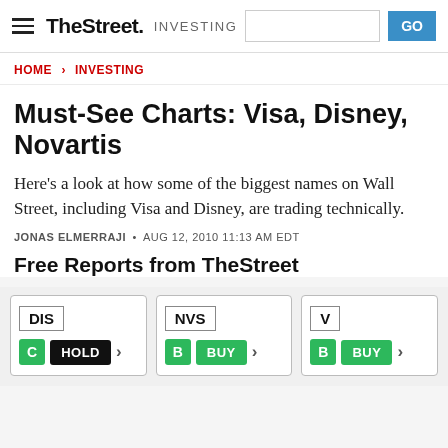TheStreet INVESTING
HOME > INVESTING
Must-See Charts: Visa, Disney, Novartis
Here's a look at how some of the biggest names on Wall Street, including Visa and Disney, are trading technically.
JONAS ELMERRAJI • AUG 12, 2010 11:13 AM EDT
Free Reports from TheStreet
[Figure (infographic): Three stock cards side by side: DIS (C HOLD), NVS (B BUY), V (B BUY)]